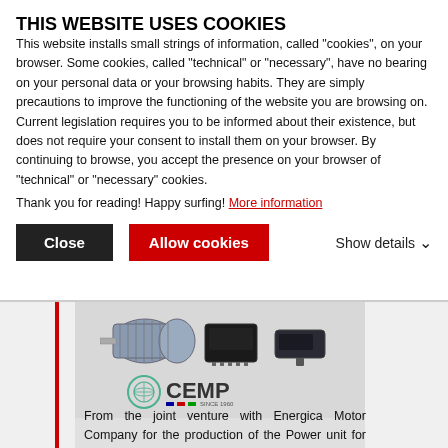THIS WEBSITE USES COOKIES
This website installs small strings of information, called "cookies", on your browser. Some cookies, called "technical" or "necessary", have no bearing on your personal data or your browsing habits. They are simply precautions to improve the functioning of the website you are browsing on. Current legislation requires you to be informed about their existence, but does not require your consent to install them on your browser. By continuing to browse, you accept the presence on your browser of "technical" or "necessary" cookies.
Thank you for reading! Happy surfing! More information
Close | Allow cookies | Show details
[Figure (photo): Product image showing electric motor components and CEMP logo]
From the joint venture with Energica Motor Company for the production of the Power unit for small and medium-sized electric vehicles to the CEMP project, in collaboration